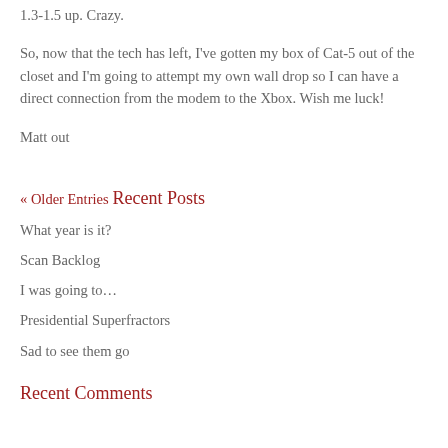1.3-1.5 up. Crazy.
So, now that the tech has left, I've gotten my box of Cat-5 out of the closet and I'm going to attempt my own wall drop so I can have a direct connection from the modem to the Xbox. Wish me luck!
Matt out
« Older Entries
Recent Posts
What year is it?
Scan Backlog
I was going to…
Presidential Superfractors
Sad to see them go
Recent Comments